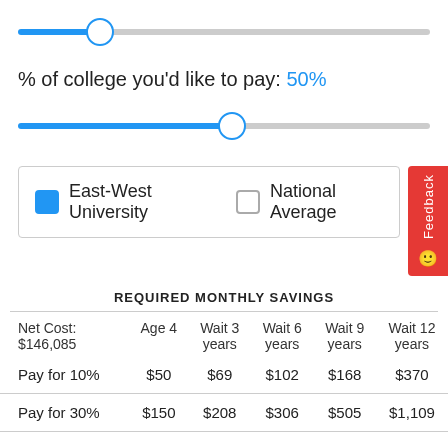% of college you'd like to pay: 50%
East-West University   National Average
| Net Cost: $146,085 | Age 4 | Wait 3 years | Wait 6 years | Wait 9 years | Wait 12 years |
| --- | --- | --- | --- | --- | --- |
| Pay for 10% | $50 | $69 | $102 | $168 | $370 |
| Pay for 30% | $150 | $208 | $306 | $505 | $1,109 |